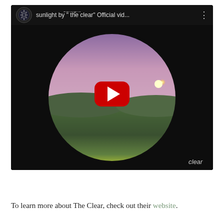[Figure (screenshot): YouTube video thumbnail for 'sunlight by "the clear" Official vid...' showing a circular vinyl record style image with a person standing in a green field under a purple sky with a sun/glare, with a red YouTube play button overlay in the center. Header shows channel icon and title. Watermark 'clear' in bottom right.]
To learn more about The Clear, check out their website.